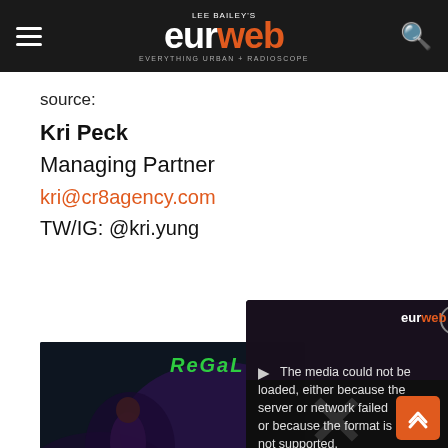LEE BAILEY'S eurweb EVERYTHING URBAN + RADIOSCOPE
source:
Kri Peck
Managing Partner
kri@cr8agency.com
TW/IG: @kri.yung
[Figure (photo): Movie poster for 'Regal' showing woman sitting on a car with 'Get Tickets Now' text and film credits for 'A Film by Corey Grant, Introducing Lanett Tachel']
[Figure (screenshot): Video player error overlay showing 'The media could not be loaded, either because the server or network failed or because the format is not supported.']